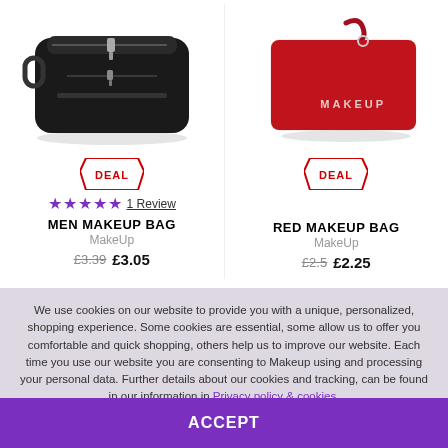[Figure (photo): Black men's makeup/toiletry bag with zipper and handle on white background]
[Figure (photo): Red leather makeup clutch bag with wrist strap and MAKEUP logo in white text]
DEAL
DEAL
★★★★★  1 Review
MEN MAKEUP BAG
MakeUp
£3.39  £3.05
RED MAKEUP BAG
MakeUp
£2.5  £2.25
We use cookies on our website to provide you with a unique, personalized, shopping experience. Some cookies are essential, some allow us to offer you comfortable and quick shopping, others help us to improve our website. Each time you use our website you are consenting to Makeup using and processing your personal data. Further details about our cookies and tracking, can be found in our information in Privacy policy & cookies.
ACCEPT